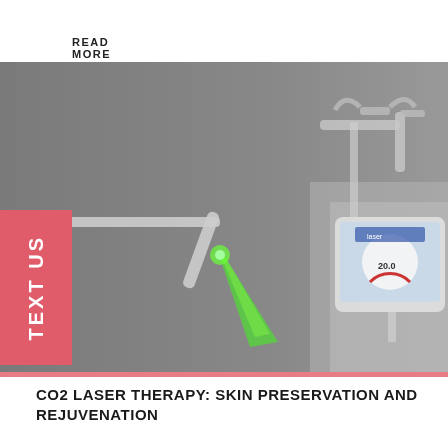READ MORE
[Figure (photo): A medical CO2 laser device with a green laser beam emitting from a handheld applicator wand, with a digital monitor screen visible on the right side of the machine, all against a gray background.]
TEXT US
CO2 LASER THERAPY: SKIN PRESERVATION AND REJUVENATION